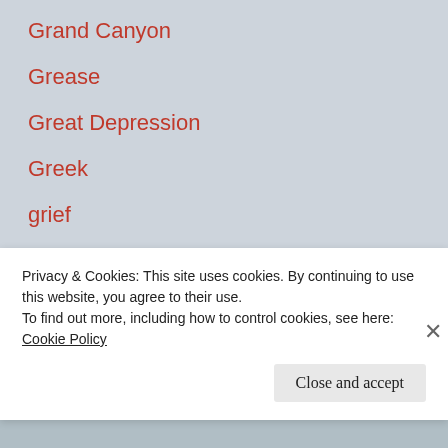Grand Canyon
Grease
Great Depression
Greek
grief
gun violence
Guy Fieri
haka
handicapped
Privacy & Cookies: This site uses cookies. By continuing to use this website, you agree to their use.
To find out more, including how to control cookies, see here: Cookie Policy